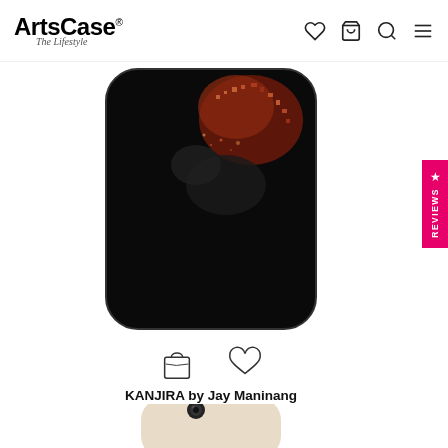[Figure (logo): ArtsCase - The Lifestyle logo with shopping bag, heart, search, and menu icons in header]
[Figure (photo): Phone case product image - KANJIRA by Jay Maninang design on Galaxy A70, dark background with reddish art]
KANJIRA by Jay Maninang
Galaxy A70
$26.99 $35.99